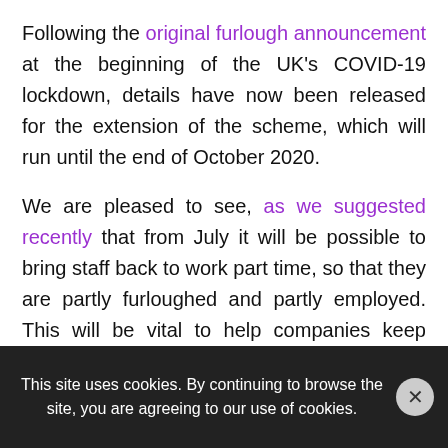Following the original furlough announcement at the beginning of the UK's COVID-19 lockdown, details have now been released for the extension of the scheme, which will run until the end of October 2020.
We are pleased to see, as we suggested recently that from July it will be possible to bring staff back to work part time, so that they are partly furloughed and partly employed. This will be vital to help companies keep things moving and to ensure that important preparation, maintenance and admin work is done.
This site uses cookies. By continuing to browse the site, you are agreeing to our use of cookies.